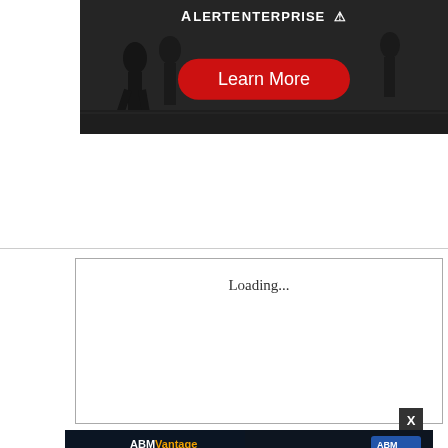[Figure (photo): AlertEnterprise advertisement banner with dark background showing silhouettes of people walking in a corridor, a white AlertEnterprise logo at top with shield icon, and a red 'Learn More' rounded button in the center]
Loading...
[Figure (photo): ABM Vantage advertisement banner with dark blue background showing a car, ABM Vantage logo, 'PARKING UNPARALLELED' text, and an orange 'LEARN MORE' button]